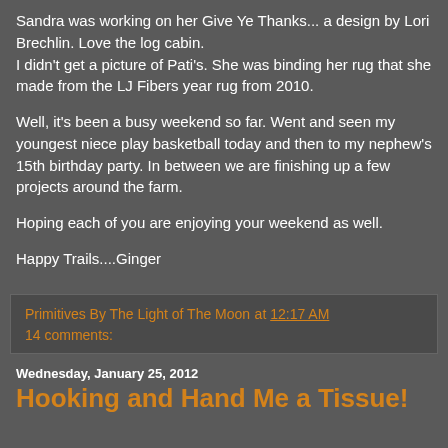Sandra was working on her Give Ye Thanks... a design by Lori Brechlin. Love the log cabin.
I didn't get a picture of Pati's. She was binding her rug that she made from the LJ Fibers year rug from 2010.
Well, it's been a busy weekend so far. Went and seen my youngest niece play basketball today and then to my nephew's 15th birthday party. In between we are finishing up a few projects around the farm.
Hoping each of you are enjoying your weekend as well.
Happy Trails....Ginger
Primitives By The Light of The Moon at 12:17 AM
14 comments:
Wednesday, January 25, 2012
Hooking and Hand Me a Tissue!